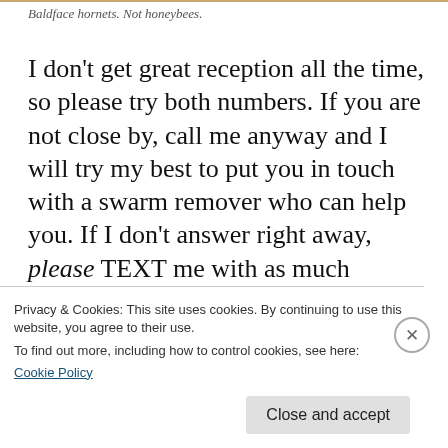Baldface hornets. Not honeybees.
I don’t get great reception all the time, so please try both numbers. If you are not close by, call me anyway and I will try my best to put you in touch with a swarm remover who can help you. If I don’t answer right away, please TEXT me with as much information as possible (full address and a picture of the bees if possible) . And then RELAX. I will absolutely call you the moment my hands are empty. Swarms
Privacy & Cookies: This site uses cookies. By continuing to use this website, you agree to their use.
To find out more, including how to control cookies, see here:
Cookie Policy
Close and accept